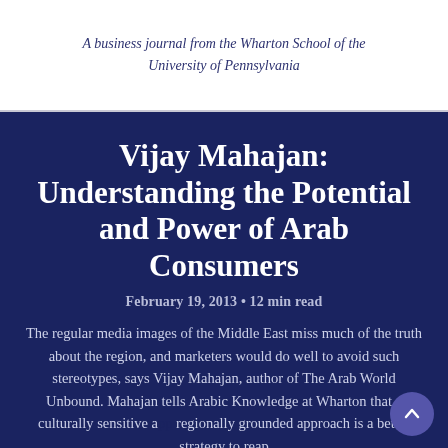A business journal from the Wharton School of the University of Pennsylvania
Vijay Mahajan: Understanding the Potential and Power of Arab Consumers
February 19, 2013 • 12 min read
The regular media images of the Middle East miss much of the truth about the region, and marketers would do well to avoid such stereotypes, says Vijay Mahajan, author of The Arab World Unbound. Mahajan tells Arabic Knowledge at Wharton that a culturally sensitive and regionally grounded approach is a better strategy to reap